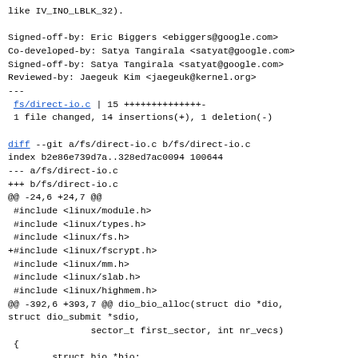like IV_INO_LBLK_32).
Signed-off-by: Eric Biggers <ebiggers@google.com>
Co-developed-by: Satya Tangirala <satyat@google.com>
Signed-off-by: Satya Tangirala <satyat@google.com>
Reviewed-by: Jaegeuk Kim <jaegeuk@kernel.org>
---
 fs/direct-io.c | 15 ++++++++++++++-
 1 file changed, 14 insertions(+), 1 deletion(-)
diff --git a/fs/direct-io.c b/fs/direct-io.c
index b2e86e739d7a..328ed7ac0094 100644
--- a/fs/direct-io.c
+++ b/fs/direct-io.c
@@ -24,6 +24,7 @@
 #include <linux/module.h>
 #include <linux/types.h>
 #include <linux/fs.h>
+#include <linux/fscrypt.h>
 #include <linux/mm.h>
 #include <linux/slab.h>
 #include <linux/highmem.h>
@@ -392,6 +393,7 @@ dio_bio_alloc(struct dio *dio,
struct dio_submit *sdio,
                sector_t first_sector, int nr_vecs)
 {
        struct bio *bio;
+        struct inode *inode = dio->inode;

        /*
         * this offset...